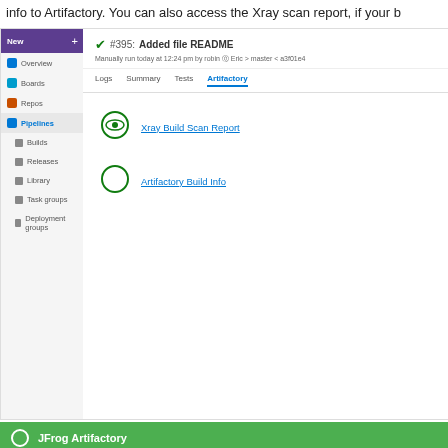info to Artifactory. You can also access the Xray scan report, if your b
[Figure (screenshot): Azure DevOps pipeline run screenshot showing build #395 'Added file README' with Artifactory tab selected, displaying two links: 'Xray Build Scan Report' and 'Artifactory Build Info']
[Figure (screenshot): JFrog Artifactory UI showing Builds - Generic-Pipeline page with build IDs 396, 394, 393, build agent GENERIC/34.2, Agent frog-clget/1.342, and Published Modules tab showing 1 Module for Generic Pipeline]
[Figure (screenshot): JFrog Xray header with Build 'Generic-Pipeline' text below]